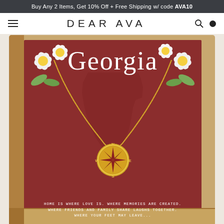Buy Any 2 Items, Get 10% Off + Free Shipping w/ code AVA10
DEAR AVA
[Figure (photo): Product photo of a Georgia compass necklace in a gift box. The box has a red insert card with 'Georgia' written in large white text, white flowers in the corners, a silhouette of the state of Georgia, and a gold compass pendant necklace draped over it. The bottom of the card reads: HOME IS WHERE LOVE IS. WHERE MEMORIES ARE CREATED. WHERE FRIENDS AND FAMILY SHARE LAUGHS TOGETHER. WHERE YOUR FEET MAY LEAVE...]